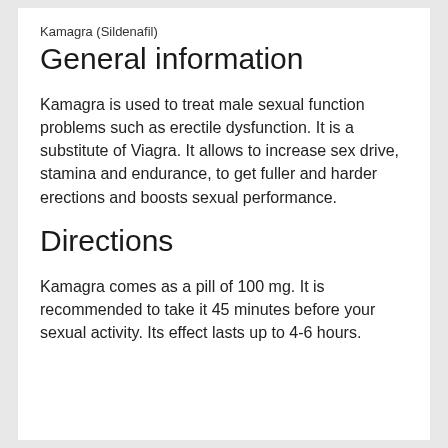Kamagra (Sildenafil)
General information
Kamagra is used to treat male sexual function problems such as erectile dysfunction. It is a substitute of Viagra. It allows to increase sex drive, stamina and endurance, to get fuller and harder erections and boosts sexual performance.
Directions
Kamagra comes as a pill of 100 mg. It is recommended to take it 45 minutes before your sexual activity. Its effect lasts up to 4-6 hours.